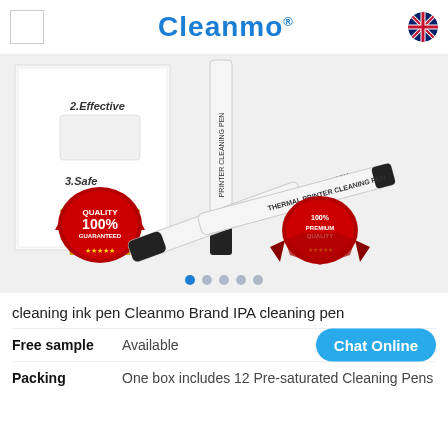Cleanmo
[Figure (photo): Product photo showing Thermal Printer Cleaning Pens with white packaging box labelled '2.Effective' and '3.Safe', and a gold/red quality guarantee badge reading 'QUALITY 100% GUARANTEED'. Three white cleaning pens with black caps are shown, two lying horizontally labeled 'THERMAL PRINTER CLEANING PEN', one vertical. Red '100% PREMIUM QUALITY' seal visible on the pens.]
cleaning ink pen Cleanmo Brand IPA cleaning pen
Free sample   Available
Packing   One box includes 12 Pre-saturated Cleaning Pens